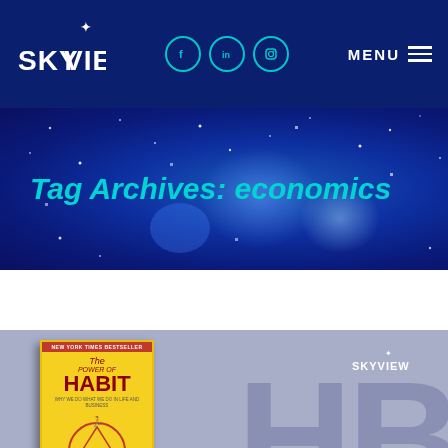[Figure (logo): SKYVIEW logo with star on dark navy background, alongside social media icons (Facebook, LinkedIn, Instagram) and MENU hamburger icon]
Tag Archives: economics
[Figure (photo): Book cover of 'The Power of Habit' by Charles Duhigg, displayed on a muted blue-purple card background with a large watermark and a small Skyview logo]